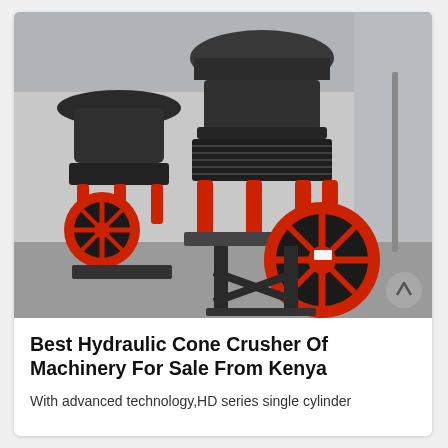[Figure (photo): Industrial hydraulic cone crushers in a factory/warehouse setting. Two large cone crusher machines are visible — dark grey/black bodies with red painted components including hydraulic cylinders, spring assemblies, and large flywheel pulley. The foreground machine is prominent with a large red-rimmed black flywheel on the right side. Background shows a concrete warehouse floor and corrugated metal walls.]
Best Hydraulic Cone Crusher Of Machinery For Sale From Kenya
With advanced technology,HD series single cylinder